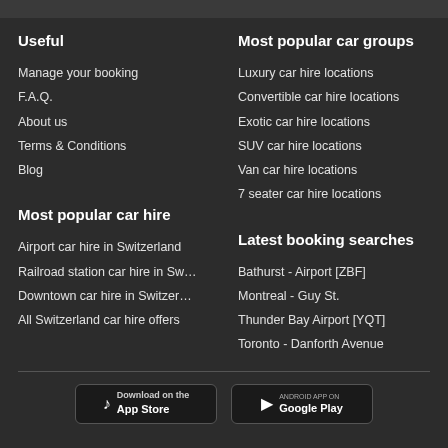Useful
Manage your booking
F.A.Q.
About us
Terms & Conditions
Blog
Most popular car groups
Luxury car hire locations
Convertible car hire locations
Exotic car hire locations
SUV car hire locations
Van car hire locations
7 seater car hire locations
Most popular car hire
Airport car hire in Switzerland
Railroad station car hire in Sw...
Downtown car hire in Switzer...
All Switzerland car hire offers
Latest booking searches
Bathurst - Airport [ZBF]
Montreal - Guy St.
Thunder Bay Airport [YQT]
Toronto - Danforth Avenue
[Figure (screenshot): Download on the App Store and Android app on Google Play badges]